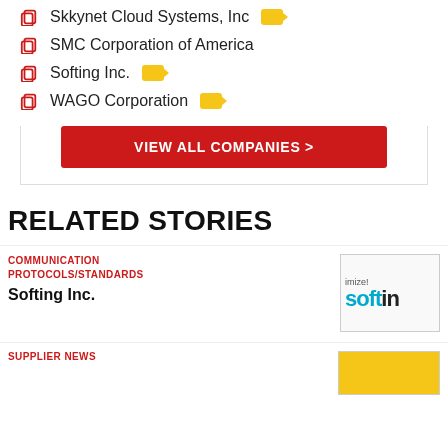Skkynet Cloud Systems, Inc
SMC Corporation of America
Softing Inc.
WAGO Corporation
VIEW ALL COMPANIES >
RELATED STORIES
COMMUNICATION PROTOCOLS/STANDARDS
Softing Inc.
[Figure (logo): Softing Inc. logo with 'imize! softin' text in blue]
SUPPLIER NEWS
[Figure (photo): Yellow background partial image]